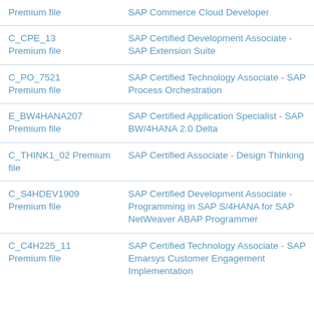| Code / Type | Certification Name |
| --- | --- |
| Premium file | SAP Commerce Cloud Developer |
| C_CPE_13
Premium file | SAP Certified Development Associate - SAP Extension Suite |
| C_PO_7521
Premium file | SAP Certified Technology Associate - SAP Process Orchestration |
| E_BW4HANA207
Premium file | SAP Certified Application Specialist - SAP BW/4HANA 2.0 Delta |
| C_THINK1_02 Premium file | SAP Certified Associate - Design Thinking |
| C_S4HDEV1909
Premium file | SAP Certified Development Associate - Programming in SAP S/4HANA for SAP NetWeaver ABAP Programmer |
| C_C4H225_11
Premium file | SAP Certified Technology Associate - SAP Emarsys Customer Engagement Implementation |